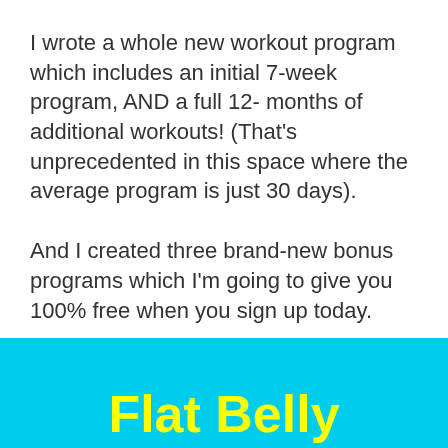I wrote a whole new workout program which includes an initial 7-week program, AND a full 12- months of additional workouts! (That's unprecedented in this space where the average program is just 30 days).
And I created three brand-new bonus programs which I'm going to give you 100% free when you sign up today.
It's called…
Flat Belly